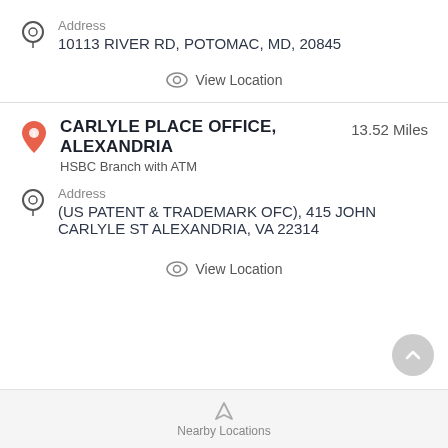Address
10113 RIVER RD, POTOMAC, MD, 20845
View Location
CARLYLE PLACE OFFICE, ALEXANDRIA   13.52 Miles
HSBC Branch with ATM
Address
(US PATENT & TRADEMARK OFC), 415 JOHN CARLYLE ST ALEXANDRIA, VA 22314
View Location
Nearby Locations